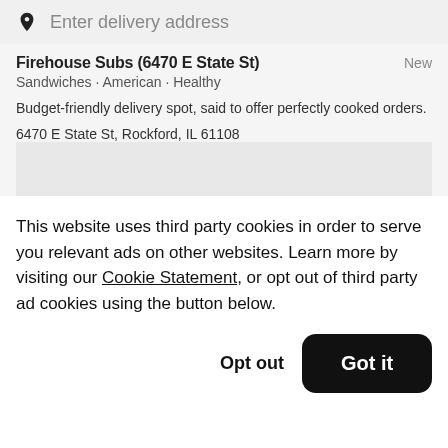Enter delivery address
Firehouse Subs (6470 E State St)
Sandwiches • American • Healthy
Budget-friendly delivery spot, said to offer perfectly cooked orders.
6470 E State St, Rockford, IL 61108
This website uses third party cookies in order to serve you relevant ads on other websites. Learn more by visiting our Cookie Statement, or opt out of third party ad cookies using the button below.